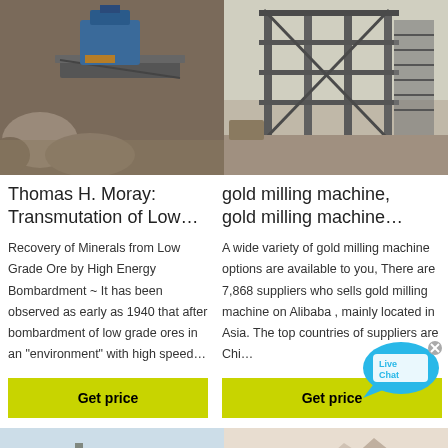[Figure (photo): Two mining/industrial machinery photos side by side at top]
Thomas H. Moray: Transmutation of Low…
gold milling machine, gold milling machine…
Recovery of Minerals from Low Grade Ore by High Energy Bombardment ~ It has been observed as early as 1940 that after bombardment of low grade ores in an "environment" with high speed…
A wide variety of gold milling machine options are available to you, There are 7,868 suppliers who sells gold milling machine on Alibaba , mainly located in Asia. The top countries of suppliers are Chi…
[Figure (other): Live Chat bubble overlay]
[Figure (photo): Two industrial/mining site photos side by side at bottom]